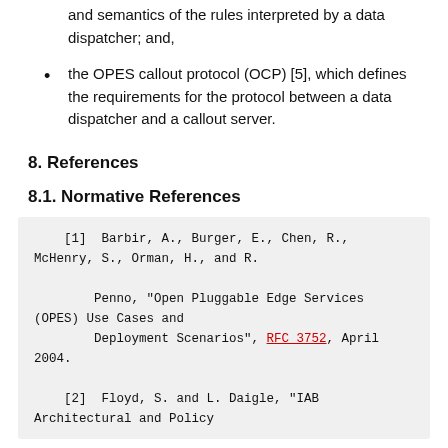and semantics of the rules interpreted by a data dispatcher; and,
the OPES callout protocol (OCP) [5], which defines the requirements for the protocol between a data dispatcher and a callout server.
8. References
8.1. Normative References
[1]  Barbir, A., Burger, E., Chen, R., McHenry, S., Orman, H., and R.

        Penno, "Open Pluggable Edge Services (OPES) Use Cases and
        Deployment Scenarios", RFC 3752, April 2004.
[2]  Floyd, S. and L. Daigle, "IAB Architectural and Policy